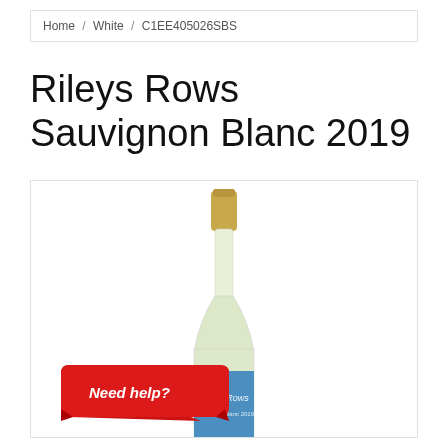Home / White / C1EE405026SBS
Rileys Rows Sauvignon Blanc 2019
[Figure (photo): A bottle of Rileys Rows Sauvignon Blanc 2019 wine with a gold cap and blue label showing the Rileys Rows branding and Sauvignon Blanc 2019 text.]
Need help?